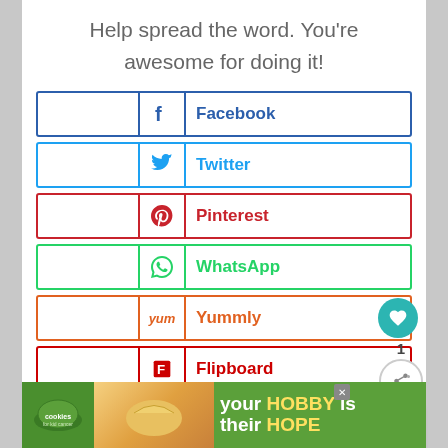Help spread the word. You're awesome for doing it!
Facebook share button
Twitter share button
Pinterest share button
WhatsApp share button
Yummly share button
Flipboard share button
Mix share button
Email share button (partial)
[Figure (screenshot): What's Next panel showing Crock Pot Macaroni an... with food thumbnail]
[Figure (screenshot): Advertisement banner: cookies for kid cancer - your HOBBY is their HOPE]